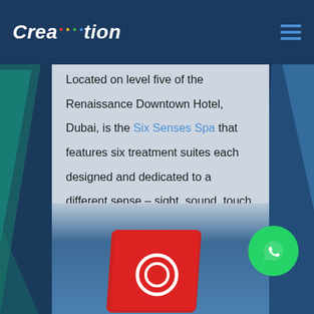Creation
Located on level five of the Renaissance Downtown Hotel, Dubai, is the Six Senses Spa that features six treatment suites each designed and dedicated to a different sense – sight, sound, touch, taste, smell and intuition.
Click here to Experience the RenDxb Tour - We know you want to!
[Figure (illustration): Red card/icon graphic at bottom of page]
[Figure (illustration): WhatsApp contact button (green circle with phone icon)]